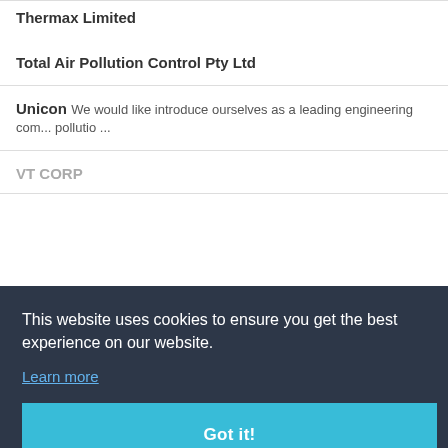Thermax Limited
Total Air Pollution Control Pty Ltd
Unicon We would like introduce ourselves as a leading engineering com... pollutio ...
V T CORP
This website uses cookies to ensure you get the best experience on our website.
Learn more
Got it!
f Air Pollutio
Nambhral Air Pollution Ltd
ComNet.com Sitemap   Magazine Articles   Publicatio